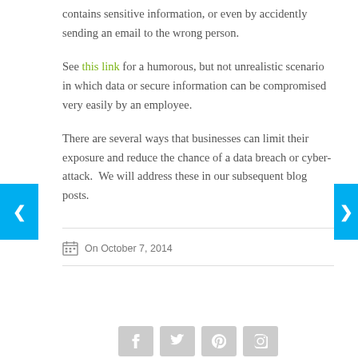contains sensitive information, or even by accidently sending an email to the wrong person.
See this link for a humorous, but not unrealistic scenario in which data or secure information can be compromised very easily by an employee.
There are several ways that businesses can limit their exposure and reduce the chance of a data breach or cyber-attack.  We will address these in our subsequent blog posts.
On October 7, 2014